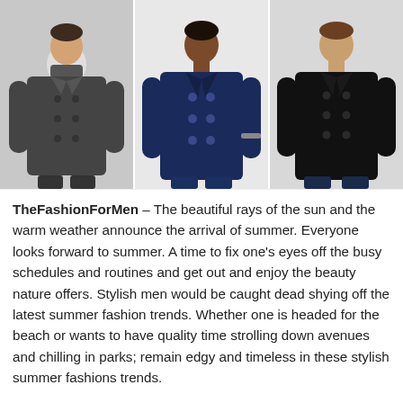[Figure (photo): Three men wearing wool peacoats: left man in dark charcoal coat, center man in navy blue coat, right man in black coat]
TheFashionForMen – The beautiful rays of the sun and the warm weather announce the arrival of summer. Everyone looks forward to summer. A time to fix one's eyes off the busy schedules and routines and get out and enjoy the beauty nature offers. Stylish men would be caught dead shying off the latest summer fashion trends. Whether one is headed for the beach or wants to have quality time strolling down avenues and chilling in parks; remain edgy and timeless in these stylish summer fashions trends.